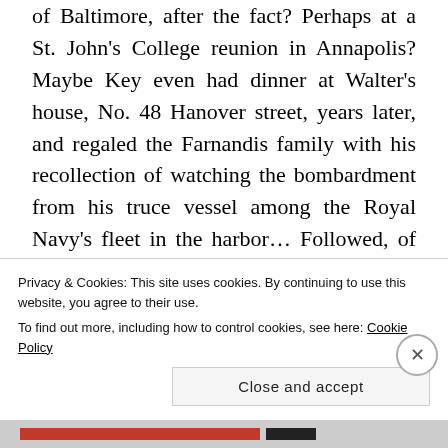of Baltimore, after the fact? Perhaps at a St. John's College reunion in Annapolis? Maybe Key even had dinner at Walter's house, No. 48 Hanover street, years later, and regaled the Farnandis family with his recollection of watching the bombardment from his truce vessel among the Royal Navy's fleet in the harbor… Followed, of course, by Walter giving his recollection of the same event, from the exact opposite point of view. These two, actually
Privacy & Cookies: This site uses cookies. By continuing to use this website, you agree to their use.
To find out more, including how to control cookies, see here: Cookie Policy
Close and accept